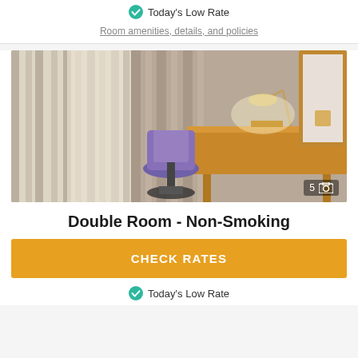Today's Low Rate
Room amenities, details, and policies
[Figure (photo): Hotel room with wooden desk, purple ergonomic chair, table lamp, and curtained window]
Double Room - Non-Smoking
CHECK RATES
Today's Low Rate